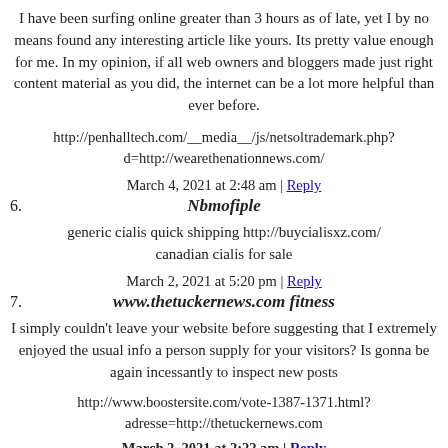I have been surfing online greater than 3 hours as of late, yet I by no means found any interesting article like yours. Its pretty value enough for me. In my opinion, if all web owners and bloggers made just right content material as you did, the internet can be a lot more helpful than ever before.
http://penhalltech.com/__media__/js/netsoltrademark.php?d=http://wearethenationnews.com/
March 4, 2021 at 2:48 am | Reply
6. Nbmofiple
generic cialis quick shipping http://buycialisxz.com/ canadian cialis for sale
March 2, 2021 at 5:20 pm | Reply
7. www.thetuckernews.com fitness
I simply couldn't leave your website before suggesting that I extremely enjoyed the usual info a person supply for your visitors? Is gonna be again incessantly to inspect new posts
http://www.boostersite.com/vote-1387-1371.html?adresse=http://thetuckernews.com
March 2, 2021 at 2:22 am | Reply